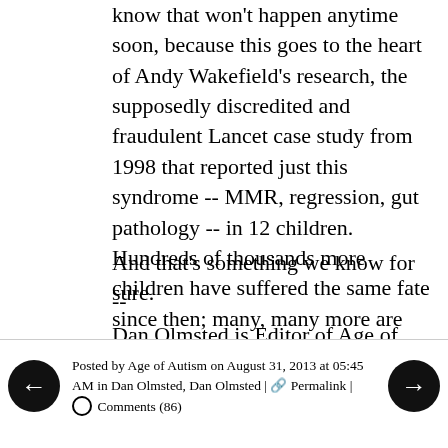know that won't happen anytime soon, because this goes to the heart of Andy Wakefield's research, the supposedly discredited and fraudulent Lancet case study from 1998 that reported just this syndrome -- MMR, regression, gut pathology -- in 12 children. Hundreds of thousands more children have suffered the same fate since then; many, many more are destined to if things don't change.
And that's something we know for sure.
--
Dan Olmsted is Editor of Age of Autism.
Posted by Age of Autism on August 31, 2013 at 05:45 AM in Dan Olmsted, Dan Olmsted | Permalink | Comments (86)